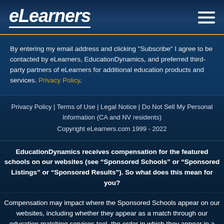eLearners
By entering my email address and clicking "Subscribe" I agree to be contacted by eLearners, EducationDynamics, and preferred third-party partners of eLearners for additional education products and services. Privacy Policy.
Privacy Policy | Terms of Use | Legal Notice | Do Not Sell My Personal Information (CA and NV residents)
Copyright eLearners.com 1999 - 2022
EducationDynamics receives compensation for the featured schools on our websites (see “Sponsored Schools” or “Sponsored Listings” or “Sponsored Results”). So what does this mean for you?
Compensation may impact where the Sponsored Schools appear on our websites, including whether they appear as a match through our education matching services tool, the order in which they appear in a listing, and their ranking. Our website does not provide with a complete list...